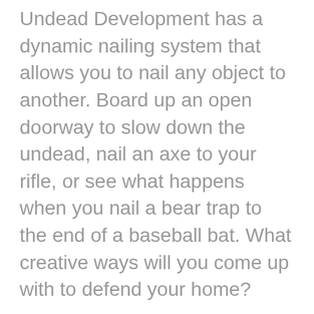Undead Development has a dynamic nailing system that allows you to nail any object to another. Board up an open doorway to slow down the undead, nail an axe to your rifle, or see what happens when you nail a bear trap to the end of a baseball bat. What creative ways will you come up with to defend your home?
Features
Explore maps and choose your base to defend.
Scavenge for supplies from randomized loot.
Break apart furniture and use it to fortify your home. (text continues below)